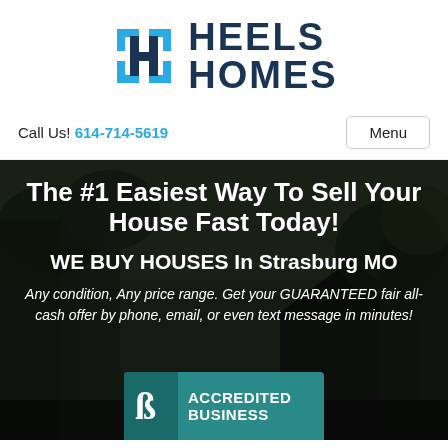[Figure (logo): Heels Homes logo with H icon in teal brackets and dark navy text reading HEELS HOMES]
Call Us! 614-714-5619
Menu
The #1 Easiest Way To Sell Your House Fast Today!
WE BUY HOUSES In Strasburg MO
Any condition, Any price range. Get your GUARANTEED fair all-cash offer by phone, email, or even text message in minutes!
[Figure (logo): BBB Accredited Business badge in teal with B icon and text ACCREDITED BUSINESS]